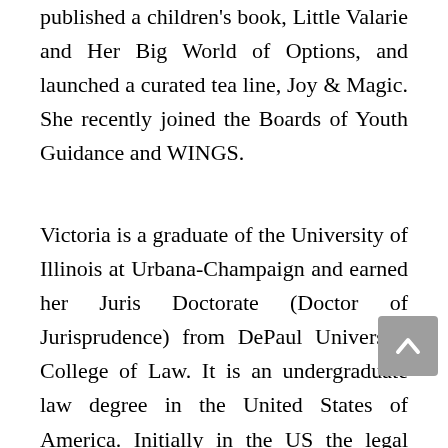published a children's book, Little Valarie and Her Big World of Options, and launched a curated tea line, Joy & Magic. She recently joined the Boards of Youth Guidance and WINGS.
Victoria is a graduate of the University of Illinois at Urbana-Champaign and earned her Juris Doctorate (Doctor of Jurisprudence) from DePaul University College of Law. It is an undergraduate law degree in the United States of America. Initially in the US the legal experts were prepared and imported from England. A conventional apprenticeship or clerkship program was set up first in New York in 1730 around then a seven-year clerkship was required, and in 1756 a four-year higher